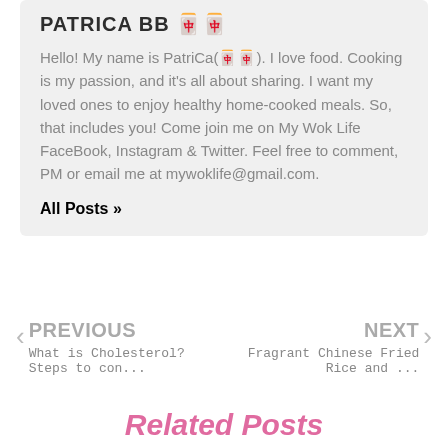PATRICA BB 🀄🀄
Hello! My name is PatriCa(🀄🀄). I love food. Cooking is my passion, and it's all about sharing. I want my loved ones to enjoy healthy home-cooked meals. So, that includes you! Come join me on My Wok Life FaceBook, Instagram & Twitter. Feel free to comment, PM or email me at mywoklife@gmail.com.
All Posts »
PREVIOUS
What is Cholesterol? Steps to con...
NEXT
Fragrant Chinese Fried Rice and ...
Related Posts